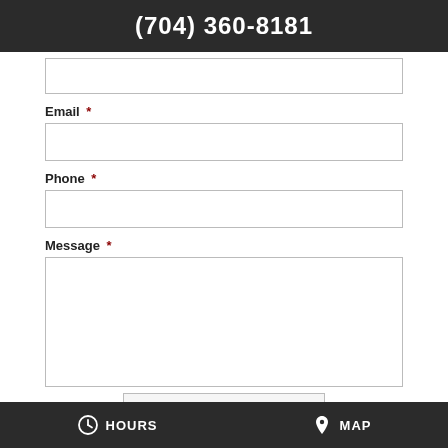(704) 360-8181
Email *
Phone *
Message *
HOURS   MAP